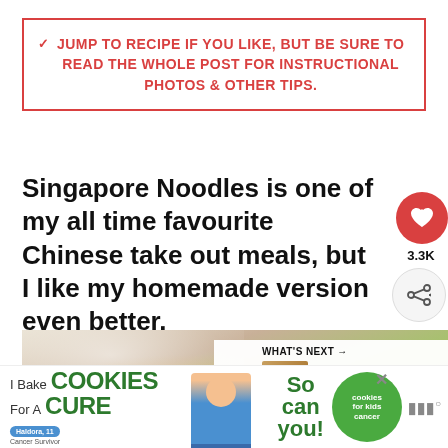JUMP TO RECIPE IF YOU LIKE, BUT BE SURE TO READ THE WHOLE POST FOR INSTRUCTIONAL PHOTOS & OTHER TIPS.
Singapore Noodles is one of my all time favourite Chinese take out meals, but I like my homemade version even better.
[Figure (photo): Close-up photo of Singapore noodles in a white bowl/plate with yellow noodles, green peppers, orange carrots and other colorful vegetables]
WHAT'S NEXT → Nutella Fudge Crumble Bars
[Figure (infographic): Advertisement banner: I Bake COOKIES For A CURE - Haldora, 11 Cancer Survivor - So can you! - cookies for kids cancer logo]